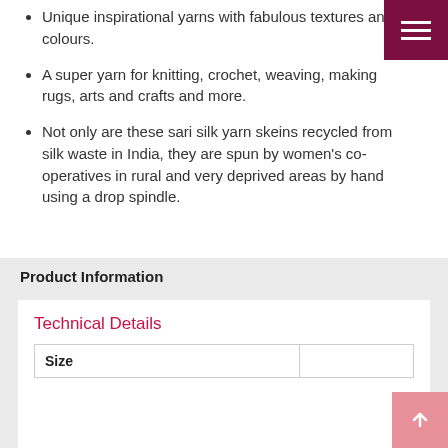Unique inspirational yarns with fabulous textures and colours.
A super yarn for knitting, crochet, weaving, making rugs, arts and crafts and more.
Not only are these sari silk yarn skeins recycled from silk waste in India, they are spun by women's co-operatives in rural and very deprived areas by hand using a drop spindle.
Product Information
Technical Details
| Size |  |
| --- | --- |